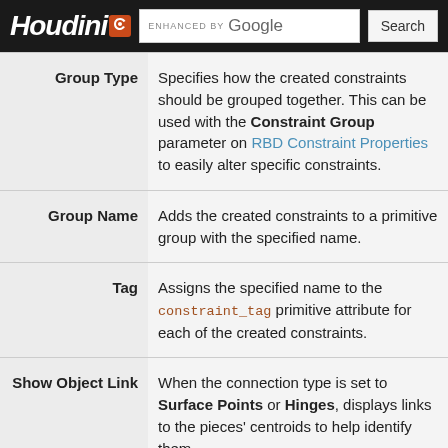Houdini | ENHANCED BY Google | Search
| Parameter | Description |
| --- | --- |
| Group Type | Specifies how the created constraints should be grouped together. This can be used with the Constraint Group parameter on RBD Constraint Properties to easily alter specific constraints. |
| Group Name | Adds the created constraints to a primitive group with the specified name. |
| Tag | Assigns the specified name to the constraint_tag primitive attribute for each of the created constraints. |
| Show Object Link | When the connection type is set to Surface Points or Hinges, displays links to the pieces' centroids to help identify them. |